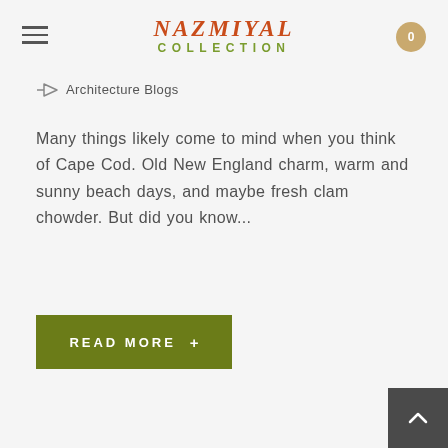Nazmiyal Collection
Architecture Blogs
Many things likely come to mind when you think of Cape Cod. Old New England charm, warm and sunny beach days, and maybe fresh clam chowder. But did you know...
READ MORE +